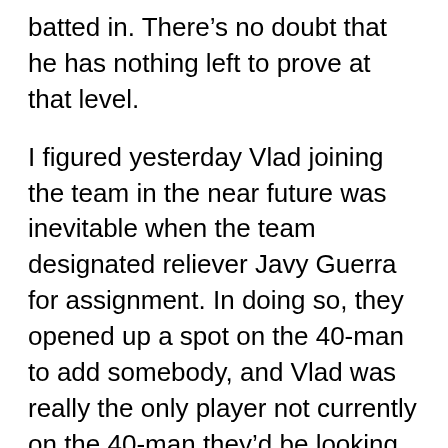batted in. There's no doubt that he has nothing left to prove at that level.
I figured yesterday Vlad joining the team in the near future was inevitable when the team designated reliever Javy Guerra for assignment. In doing so, they opened up a spot on the 40-man to add somebody, and Vlad was really the only player not currently on the 40-man they'd be looking to add.
I like that the Blue jays are debuting Vlad at home. The fans haven't had all that much to watch this season and Vlad Jr. is going to make the price of admission worth it in 2019. It's good that the Jays are essentially thanking the fans for being patient with this whole thing by making his Major League...